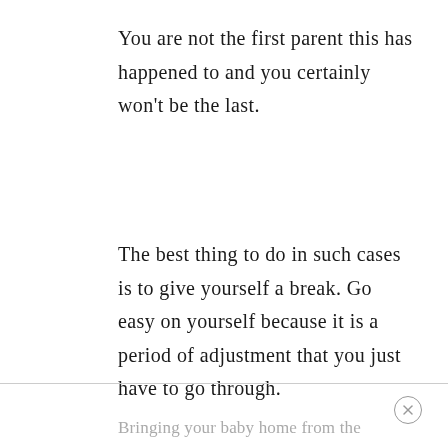You are not the first parent this has happened to and you certainly won't be the last.
The best thing to do in such cases is to give yourself a break. Go easy on yourself because it is a period of adjustment that you just have to go through.
FINAL THOUGHTS ON BRINGING BABY HOME
Bringing your baby home from the